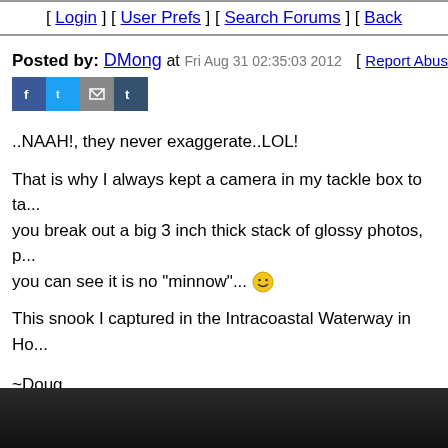[ Login ] [ User Prefs ] [ Search Forums ] [ Back [
Posted by: DMong at Fri Aug 31 02:35:03 2012 [ Report Abus
..NAAH!, they never exaggerate..LOL!

That is why I always kept a camera in my tackle box to ta... you break out a big 3 inch thick stack of glossy photos, p... you can see it is no "minnow"...

This snook I captured in the Intracoastal Waterway in Ho...
~Doug
[Figure (photo): Dark photo strip at the bottom of the page, appears to be a fishing-related photograph]